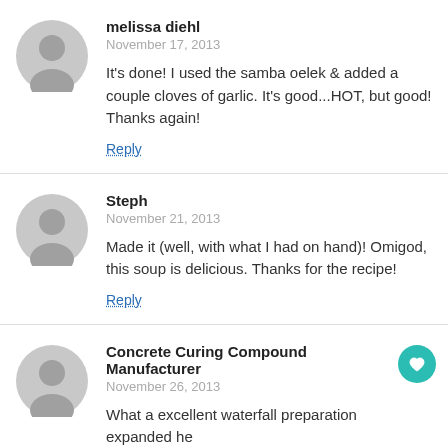melissa diehl
November 17, 2013

It's done! I used the samba oelek & added a couple cloves of garlic. It's good...HOT, but good! Thanks again!

Reply
Steph
November 21, 2013

Made it (well, with what I had on hand)! Omigod, this soup is delicious. Thanks for the recipe!

Reply
Concrete Curing Compound Manufacturer
November 26, 2013

What a excellent waterfall preparation expanded he by giving the technical satisfaction of the pond position. Really its a parametrically cleaning surface position of the Concrete Curing Compound